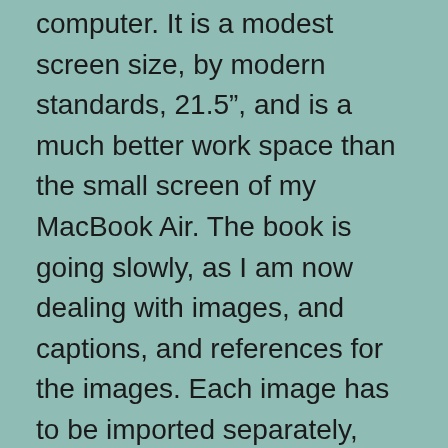computer. It is a modest screen size, by modern standards, 21.5”, and is a much better work space than the small screen of my MacBook Air. The book is going slowly, as I am now dealing with images, and captions, and references for the images. Each image has to be imported separately, resized and positioned on the page, manually captioned, and then manually referenced. There are hundreds of images, this is going to take some time.
We decided recently to discontinue Acorn TV for a little while, as we had watched all the programming they had that was interesting to